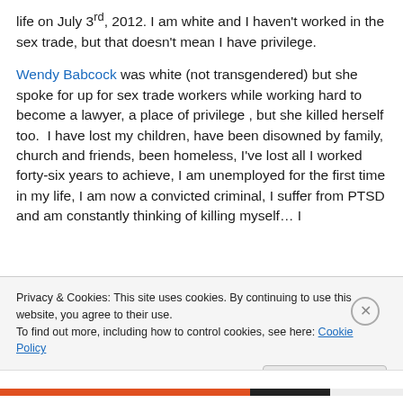life on July 3rd, 2012. I am white and I haven't worked in the sex trade, but that doesn't mean I have privilege.
Wendy Babcock was white (not transgendered) but she spoke for up for sex trade workers while working hard to become a lawyer, a place of privilege , but she killed herself too.  I have lost my children, have been disowned by family, church and friends, been homeless, I've lost all I worked forty-six years to achieve, I am unemployed for the first time in my life, I am now a convicted criminal, I suffer from PTSD and am constantly thinking of killing myself… I
Privacy & Cookies: This site uses cookies. By continuing to use this website, you agree to their use.
To find out more, including how to control cookies, see here: Cookie Policy